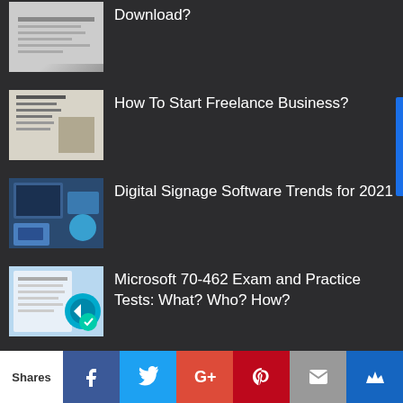Download?
How To Start Freelance Business?
Digital Signage Software Trends for 2021
Microsoft 70-462 Exam and Practice Tests: What? Who? How?
BEST GUIDES
Best Blogging Tools